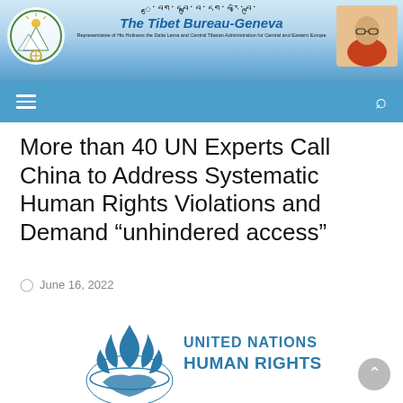[Figure (illustration): Tibet Bureau-Geneva website header banner with Tibetan emblem logo on left, Dalai Lama photo on right, Tibetan script and bureau name in center, sky/cloud background]
The Tibet Bureau-Geneva — Representative of His Holiness the Dalai Lama and Central Tibetan Administration for Central and Eastern Europe
More than 40 UN Experts Call China to Address Systematic Human Rights Violations and Demand “unhindered access”
June 16, 2022
[Figure (logo): United Nations Human Rights logo — blue flame/hands emblem on left, text UNITED NATIONS HUMAN RIGHTS in blue on right]